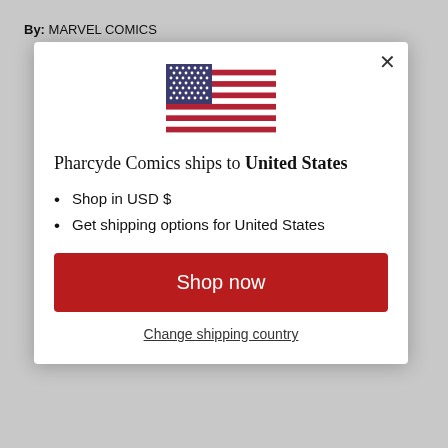By: MARVEL COMICS
[Figure (illustration): US flag SVG illustration inside modal dialog]
Pharcyde Comics ships to United States
Shop in USD $
Get shipping options for United States
Shop now
Change shipping country